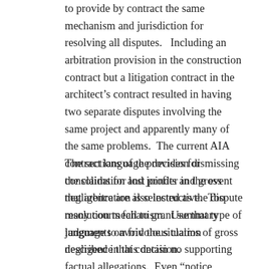to provide by contract the same mechanism and jurisdiction for resolving all disputes.   Including an arbitration provision in the construction contract but a litigation contract in the architect's contract resulted in having two separate disputes involving the same project and apparently many of the same problems.  The current AIA contract language provides for consolidation and joinder in the event that arbitration is selected as the dispute resolution mechanism.  Use that type of language to avoid the situation described in this decision.
The sections of the decision dismissing the claims for lost profits and gross negligence are also instructive.  Too many courts fail to grant summary judgments on frivolous claims of gross negligence that contain no supporting factual allegations.  Even “notice pleading” requires some solid factual allegations be pleaded that would, if proved later at trial, establish there was gross negligence.  Merely saying there was gross negligence